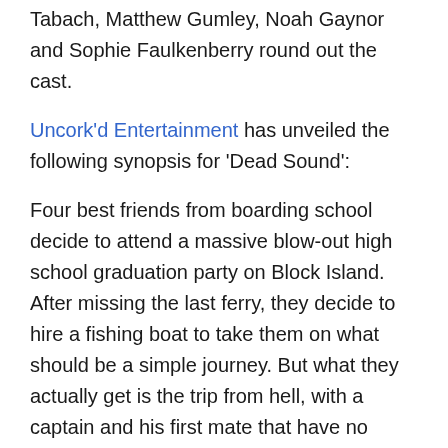Tabach, Matthew Gumley, Noah Gaynor and Sophie Faulkenberry round out the cast.
Uncork'd Entertainment has unveiled the following synopsis for 'Dead Sound':
Four best friends from boarding school decide to attend a massive blow-out high school graduation party on Block Island. After missing the last ferry, they decide to hire a fishing boat to take them on what should be a simple journey. But what they actually get is the trip from hell, with a captain and his first mate that have no intention of taking the kids to Block Island. The duo instead puts them into a fight to survive and to simply make it back to land… any land.